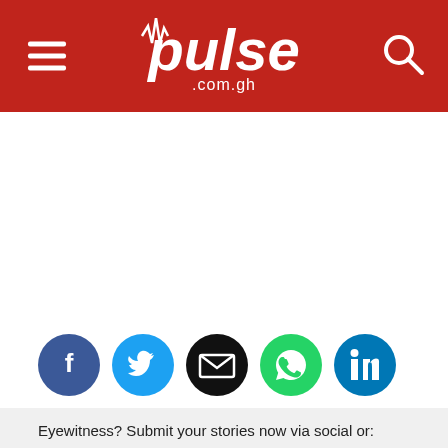pulse .com.gh
[Figure (illustration): Social sharing icons row: Facebook (blue circle), Twitter (blue circle), Email (black circle with envelope), WhatsApp (green circle), LinkedIn (blue circle)]
Eyewitness? Submit your stories now via social or:
Email: eyewitness@pulse.com.gh